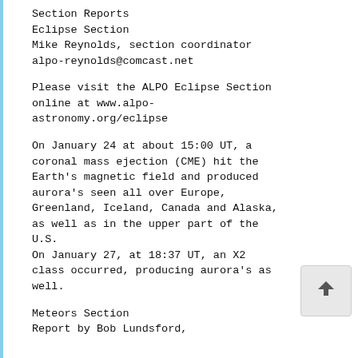Section Reports
Eclipse Section
Mike Reynolds, section coordinator
alpo-reynolds@comcast.net
Please visit the ALPO Eclipse Section online at www.alpo-astronomy.org/eclipse
On January 24 at about 15:00 UT, a coronal mass ejection (CME) hit the Earth’s magnetic field and produced aurora’s seen all over Europe, Greenland, Iceland, Canada and Alaska, as well as in the upper part of the U.S.
On January 27, at 18:37 UT, an X2 class occurred, producing aurora’s as well.
Meteors Section
Report by Bob Lundsford,